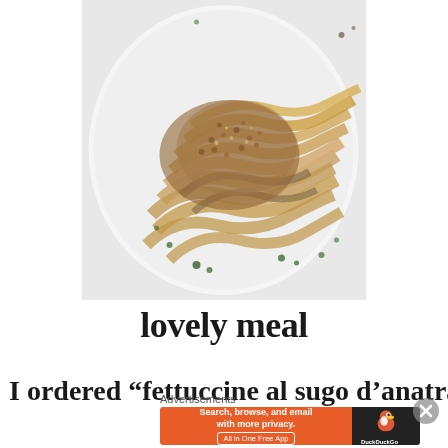[Figure (photo): A plate of fettuccine pasta with a brown meat sauce and breadcrumb topping, garnished with chopped herbs, served on a white plate]
lovely meal
I ordered “fettuccine al sugo d’anatra”
Advertisements
[Figure (screenshot): DuckDuckGo advertisement banner: orange background with text 'Search, browse, and email with more privacy. All in One Free App' and DuckDuckGo duck logo on dark background]